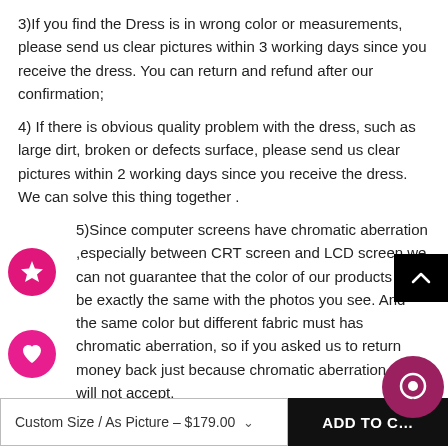3)If you find the Dress is in wrong color or measurements, please send us clear pictures within 3 working days since you receive the dress. You can return and refund after our confirmation;
4) If there is obvious quality problem with the dress, such as large dirt, broken or defects surface, please send us clear pictures within 2 working days since you receive the dress. We can solve this thing together .
5)Since computer screens have chromatic aberration ,especially between CRT screen and LCD screen,we can not guarantee that the color of our products will be exactly the same with the photos you see. And the same color but different fabric must has chromatic aberration, so if you asked us to return money back just because chromatic aberration, we will not accept.
Custom Size / As Picture – $179.00
ADD TO CART